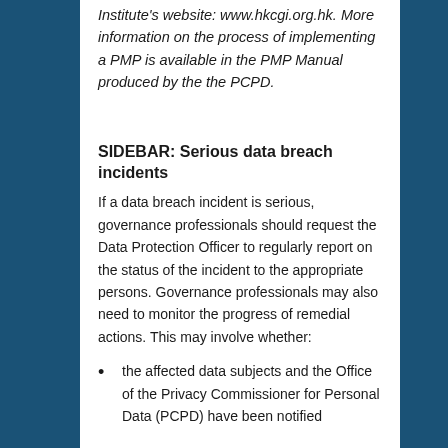Institute's website: www.hkcgi.org.hk. More information on the process of implementing a PMP is available in the PMP Manual produced by the the PCPD.
SIDEBAR: Serious data breach incidents
If a data breach incident is serious, governance professionals should request the Data Protection Officer to regularly report on the status of the incident to the appropriate persons. Governance professionals may also need to monitor the progress of remedial actions. This may involve whether:
the affected data subjects and the Office of the Privacy Commissioner for Personal Data (PCPD) have been notified